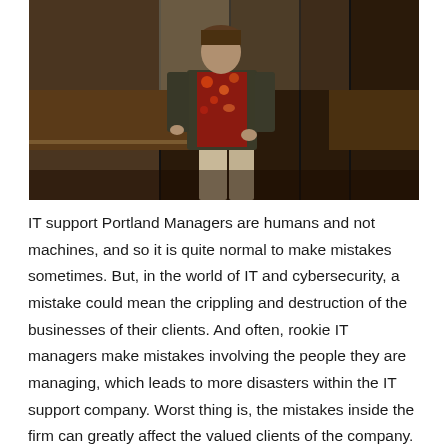[Figure (photo): A person standing in what appears to be an office or lobby environment with glass panels and wooden furniture in the background. The person is wearing a dark jacket over a colorful floral shirt.]
IT support Portland Managers are humans and not machines, and so it is quite normal to make mistakes sometimes. But, in the world of IT and cybersecurity, a mistake could mean the crippling and destruction of the businesses of their clients. And often, rookie IT managers make mistakes involving the people they are managing, which leads to more disasters within the IT support company. Worst thing is, the mistakes inside the firm can greatly affect the valued clients of the company. And so here in this post we will talk about the common mistakes that new IT Managers make. In knowing these mistakes, you will have better chances of avoiding the same mistakes so you can become better at your task at managing IT support specialists and company resources.